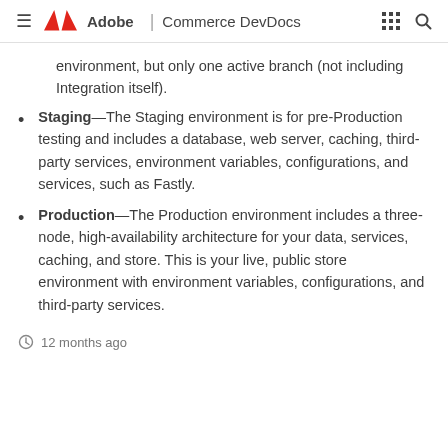Adobe | Commerce DevDocs
environment, but only one active branch (not including Integration itself).
Staging—The Staging environment is for pre-Production testing and includes a database, web server, caching, third-party services, environment variables, configurations, and services, such as Fastly.
Production—The Production environment includes a three-node, high-availability architecture for your data, services, caching, and store. This is your live, public store environment with environment variables, configurations, and third-party services.
12 months ago